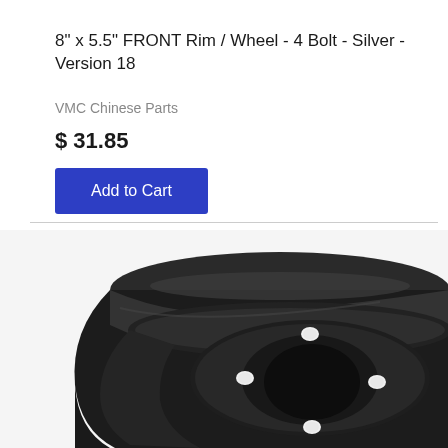8" x 5.5" FRONT Rim / Wheel - 4 Bolt - Silver - Version 18
VMC Chinese Parts
$ 31.85
Add to Cart
[Figure (photo): Black steel front rim/wheel with 4 bolt holes, photographed from an angle showing the barrel depth and bolt pattern on the hub face.]